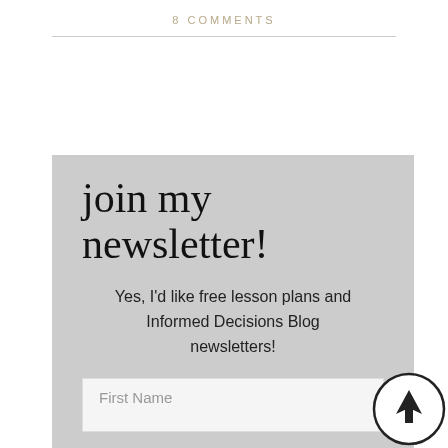8 COMMENTS
[Figure (infographic): Newsletter signup box with cursive title 'join my newsletter!' on grey background, body text, and First Name input field]
[Figure (other): Circular scroll-to-top button with upward arrow]